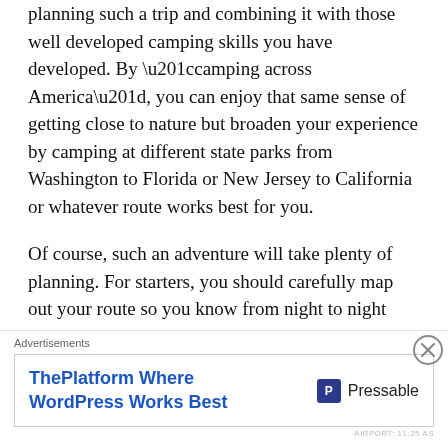planning such a trip and combining it with those well developed camping skills you have developed. By “camping across America”, you can enjoy that same sense of getting close to nature but broaden your experience by camping at different state parks from Washington to Florida or New Jersey to California or whatever route works best for you.
Of course, such an adventure will take plenty of planning. For starters, you should carefully map out your route so you know from night to night where the next camping location exactly is. The great thing about the National Parks System is that you can virtually visit any campsite in the country using the internet and view the locations of the campsites and even make your reservations on the
[Figure (screenshot): Advertisement banner: 'ThePlatform Where WordPress Works Best' with Pressable logo. Labeled 'Advertisements' at top.]